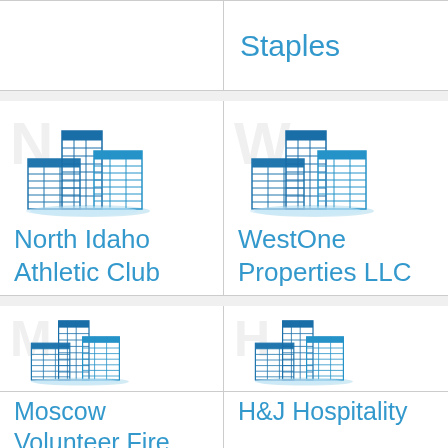[Figure (logo): Building icon placeholder (empty left cell, top row)]
Staples
[Figure (logo): Building icon for North Idaho Athletic Club]
North Idaho Athletic Club
[Figure (logo): Building icon for WestOne Properties LLC]
WestOne Properties LLC
[Figure (logo): Building icon for Moscow Volunteer Fire Department]
Moscow Volunteer Fire Department
[Figure (logo): Building icon for H&J Hospitality]
H&J Hospitality